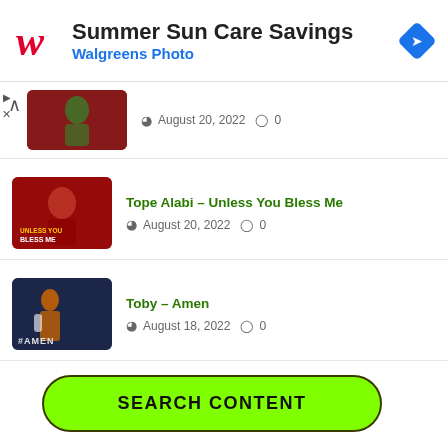[Figure (screenshot): Walgreens Photo ad banner with logo, 'Summer Sun Care Savings' title, 'Walgreens Photo' subtitle, and blue navigation icon]
August 20, 2022  0
Tope Alabi – Unless You Bless Me
August 20, 2022  0
Toby – Amen
August 18, 2022  0
SEARCH CONTENT